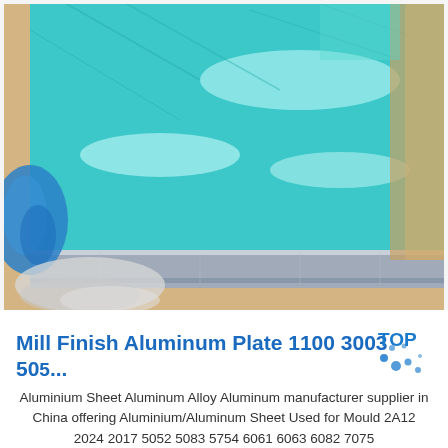[Figure (photo): Blue plastic-film-coated aluminium/aluminum plate sheets stacked, showing teal/turquoise protective film on top surface with reflective highlights, and a bare silver metallic edge visible at the front. Cardboard and plastic wrapping material visible around the plates.]
Mill Finish Aluminum Plate 1100 3003 505...
Aluminium Sheet Aluminum Alloy Aluminum manufacturer supplier in China offering Aluminium/Aluminum Sheet Used for Mould 2A12 2024 2017 5052 5083 5754 6061 6063 6082 7075